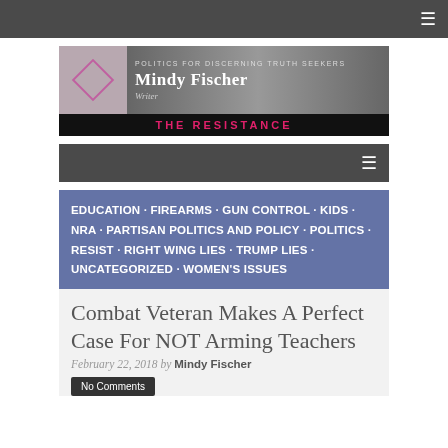≡
[Figure (logo): Mindy Fischer Writer blog header banner — tagline: POLITICS FOR DISCERNING TRUTH SEEKERS, name: Mindy Fischer, subtitle: Writer, bottom bar: THE RESISTANCE in pink]
≡
EDUCATION · FIREARMS · GUN CONTROL · KIDS · NRA · PARTISAN POLITICS AND POLICY · POLITICS · RESIST · RIGHT WING LIES · TRUMP LIES · UNCATEGORIZED · WOMEN'S ISSUES
Combat Veteran Makes A Perfect Case For NOT Arming Teachers
February 22, 2018 by Mindy Fischer
No Comments